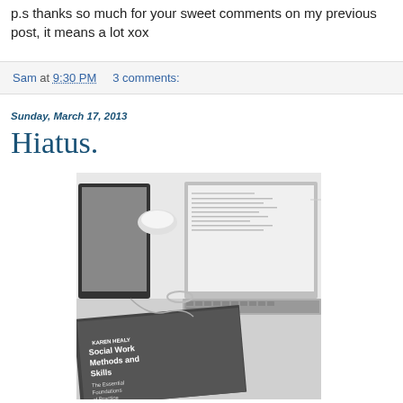p.s thanks so much for your sweet comments on my previous post, it means a lot xox
Sam at 9:30 PM    3 comments:
Sunday, March 17, 2013
Hiatus.
[Figure (photo): Black and white photo of a desk with a laptop, tablet/e-reader, and a book titled 'Social Work Methods and Skills: The Essential Foundations of Practice' by Karen Healy]